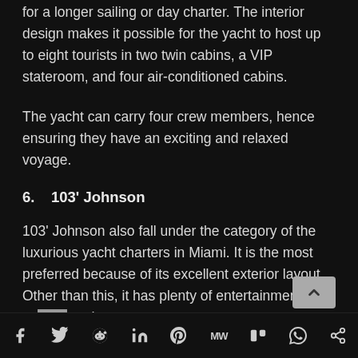for a longer sailing or day charter. The interior design makes it possible for the yacht to host up to eight tourists in two twin cabins, a VIP stateroom, and four air-conditioned cabins.
The yacht can carry four crew members, hence ensuring they have an exciting and relaxed voyage.
6.    103' Johnson
103' Johnson also fall under the category of the luxurious yacht charters in Miami. It is the most preferred because of its excellent exterior layout. Other than this, it has plenty of entertainment options and
f  𝕏  reddit  in  P  MW  m  WhatsApp  share